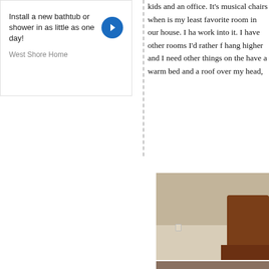[Figure (other): Advertisement box for West Shore Home: 'Install a new bathtub or shower in as little as one day!' with a blue circular arrow button and 'West Shore Home' label]
kids and an office. It's musical chairs when is my least favorite room in our house. I ha work into it. I have other rooms I'd rather f hang higher and I need other things on the have a warm bed and a roof over my head,
[Figure (photo): Interior bedroom photo showing a tan/beige wall, light carpet floor, and dark wood furniture (appears to be a sleigh bed frame) partially visible at the right edge of the frame.]
[Figure (photo): Partial view of another interior photo at the bottom of the page.]